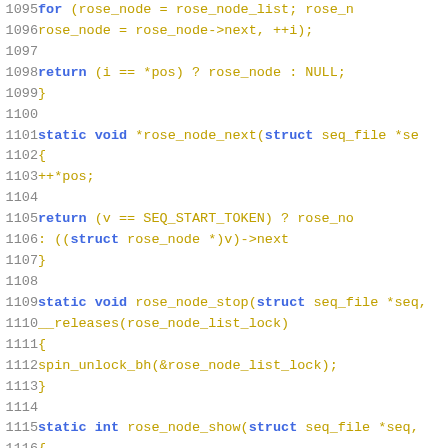[Figure (screenshot): Source code listing in C showing lines 1095-1116, with syntax highlighting. Line numbers in gray on the left, keywords in blue, code in gold/yellow on white background.]